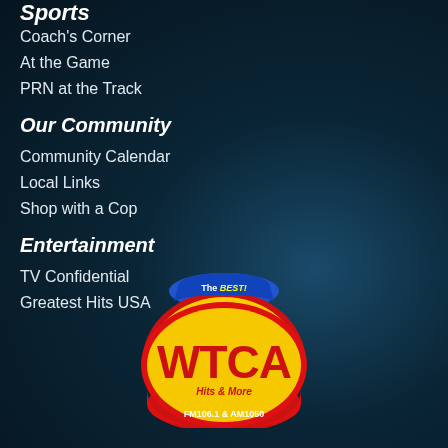Sports
Coach's Corner
At the Game
PRN at the Track
Our Community
Community Calendar
Local Links
Shop with a Cop
Entertainment
TV Confidential
Greatest Hits USA
[Figure (logo): WTCA radio station logo - The BEST! WTCA Hits & More FM106.1 & AM1050]